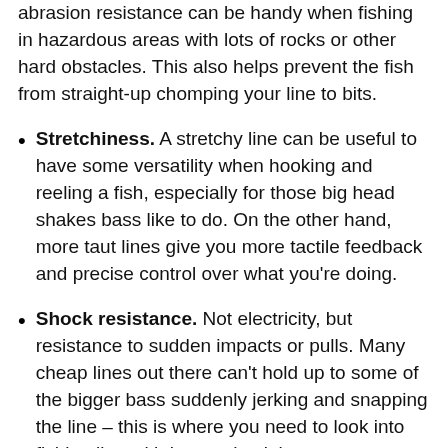abrasion resistance can be handy when fishing in hazardous areas with lots of rocks or other hard obstacles. This also helps prevent the fish from straight-up chomping your line to bits.
Stretchiness. A stretchy line can be useful to have some versatility when hooking and reeling a fish, especially for those big head shakes bass like to do. On the other hand, more taut lines give you more tactile feedback and precise control over what you're doing.
Shock resistance. Not electricity, but resistance to sudden impacts or pulls. Many cheap lines out there can't hold up to some of the bigger bass suddenly jerking and snapping the line – this is where you need to look into fishing line with better shock impact resistance.
Visibility. Many folks use clear lines, which usually works fine, but if the water is clear, the fish might